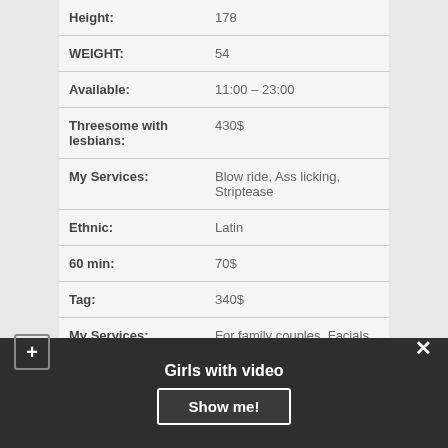| Field | Value |
| --- | --- |
| Height: | 178 |
| WEIGHT: | 54 |
| Available: | 11:00 – 23:00 |
| Threesome with lesbians: | 430$ |
| My Services: | Blow ride, Ass licking, Striptease |
| Ethnic: | Latin |
| 60 min: | 70$ |
| Tag: | 340$ |
| My Services: | For family couples, Facials |
Girls with video
Show me!